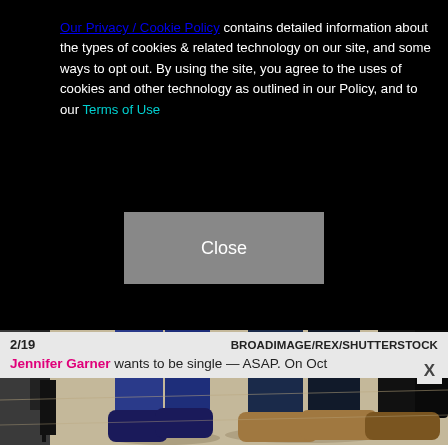Our Privacy / Cookie Policy contains detailed information about the types of cookies & related technology on our site, and some ways to opt out. By using the site, you agree to the uses of cookies and other technology as outlined in our Policy, and to our Terms of Use
Close
[Figure (photo): Photo showing legs and feet of people standing on pavement near a vehicle. A child in blue jogger pants and navy high-top sneakers, an adult in dark jeans with tan lace-up boots, and another person in black pants with black heels visible at left edge.]
2/19  BROADIMAGE/REX/SHUTTERSTOCK
Jennifer Garner wants to be single — ASAP. On Oct